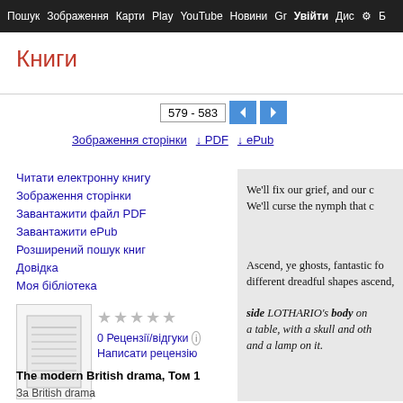Пошук Зображення Карти Play YouTube Новини Gr Увійти Дис Б
Книги
579 - 583
Зображення сторінки  ↓ PDF  ↓ ePub
Читати електронну книгу
Зображення сторінки
Завантажити файл PDF
Завантажити ePub
Розширений пошук книг
Довідка
Моя бібліотека
[Figure (illustration): Book thumbnail image showing a page with text/table content]
★★★★★
0 Рецензії/відгуки ℹ
Написати рецензію
We'll fix our grief, and our c
We'll curse the nymph that c
Ascend, ye ghosts, fantastic fo
different dreadful shapes ascend,
side LOTHARIO's body on
a table, with a skull and oth
and a lamp on it.
The modern British drama, Том 1
За British drama